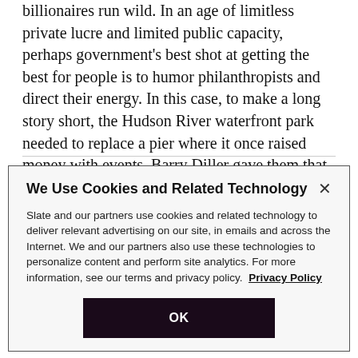billionaires run wild. In an age of limitless private lucre and limited public capacity, perhaps government's best shot at getting the best for people is to humor philanthropists and direct their energy. In this case, to make a long story short, the Hudson River waterfront park needed to replace a pier where it once raised money with events. Barry Diller gave them that … and more.
We Use Cookies and Related Technology
Slate and our partners use cookies and related technology to deliver relevant advertising on our site, in emails and across the Internet. We and our partners also use these technologies to personalize content and perform site analytics. For more information, see our terms and privacy policy.  Privacy Policy
OK